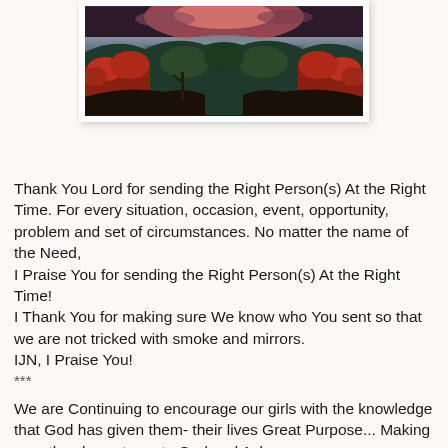[Figure (photo): Aerial landscape photo showing a lake surrounded by autumn foliage with red, orange and green trees and mountains in the background at dusk/sunset]
Thank You Lord for sending the Right Person(s) At the Right Time. For every situation, occasion, event, opportunity, problem and set of circumstances. No matter the name of the Need,
I Praise You for sending the Right Person(s) At the Right Time!
I Thank You for making sure We know who You sent so that we are not tricked with smoke and mirrors.
IJN, I Praise You!
***
We are Continuing to encourage our girls with the knowledge that God has given them- their lives Great Purpose... Making sure they know to go to God and Ask